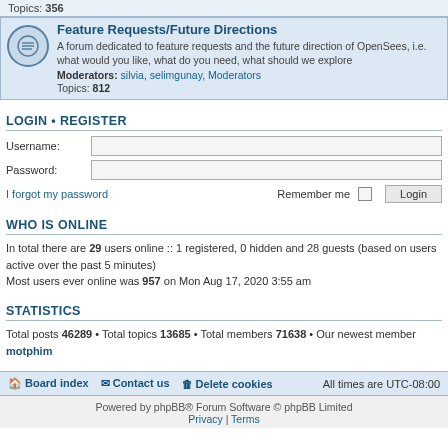Topics: 356
Feature Requests/Future Directions
A forum dedicated to feature requests and the future direction of OpenSees, i.e. what would you like, what do you need, what should we explore
Moderators: silvia, selimgunay, Moderators
Topics: 812
LOGIN • REGISTER
Username:
Password:
I forgot my password
Remember me
WHO IS ONLINE
In total there are 29 users online :: 1 registered, 0 hidden and 28 guests (based on users active over the past 5 minutes)
Most users ever online was 957 on Mon Aug 17, 2020 3:55 am
STATISTICS
Total posts 46289 • Total topics 13685 • Total members 71638 • Our newest member motphim
Board index  Contact us  Delete cookies  All times are UTC-08:00
Powered by phpBB® Forum Software © phpBB Limited
Privacy | Terms